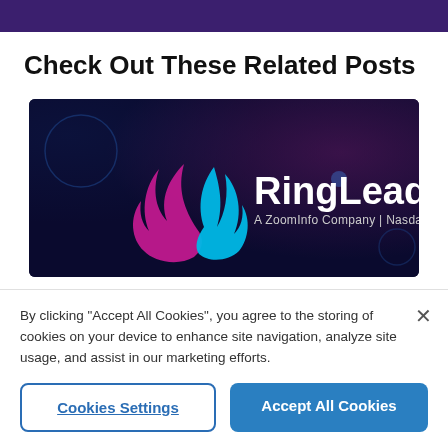Check Out These Related Posts
[Figure (illustration): RingLead logo banner — dark navy/blue gradient background with magenta-to-cyan flame logo, text 'RingLead' in white, subtitle 'A ZoomInfo Company | Nasdaq: ZI']
By clicking “Accept All Cookies”, you agree to the storing of cookies on your device to enhance site navigation, analyze site usage, and assist in our marketing efforts.
Cookies Settings
Accept All Cookies